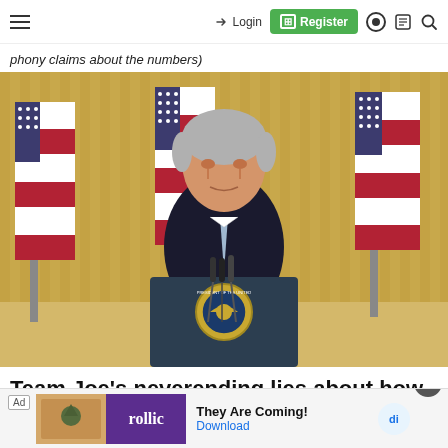Login  Register
phony claims about the numbers)
[Figure (photo): President Joe Biden standing at a presidential podium with the presidential seal, wearing a dark suit and light blue tie, with several American flags in the background against gold curtains.]
Team Joe's neverending lies about how man…
[Figure (other): Advertisement banner for Rollic game 'They Are Coming!' with a purple logo and download button.]